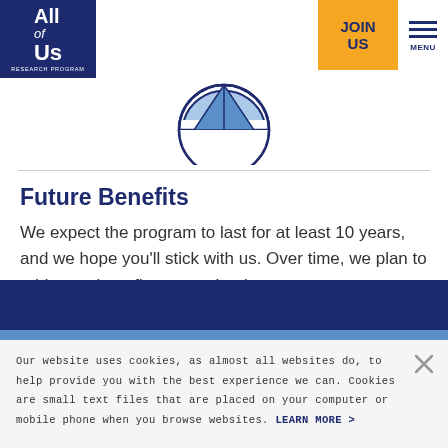All of Us Research Program — JOIN US — MENU
[Figure (illustration): A circular icon showing a half-circle with a triangle/slice shape inside, in light blue and white colors with a dark blue outline]
Future Benefits
We expect the program to last for at least 10 years, and we hope you'll stick with us. Over time, we plan to add more benefits to say thank you to our participants.
Our website uses cookies, as almost all websites do, to help provide you with the best experience we can. Cookies are small text files that are placed on your computer or mobile phone when you browse websites. LEARN MORE >